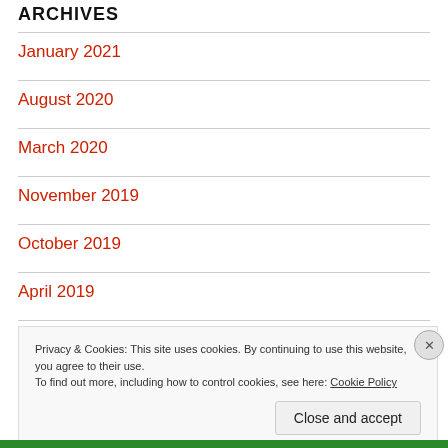ARCHIVES
January 2021
August 2020
March 2020
November 2019
October 2019
April 2019
Privacy & Cookies: This site uses cookies. By continuing to use this website, you agree to their use. To find out more, including how to control cookies, see here: Cookie Policy
Close and accept